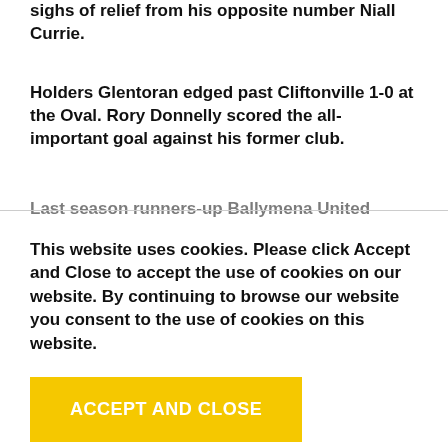sighs of relief from his opposite number Niall Currie.
Holders Glentoran edged past Cliftonville 1-0 at the Oval. Rory Donnelly scored the all-important goal against his former club.
Last season runners-up Ballymena United
This website uses cookies. Please click Accept and Close to accept the use of cookies on our website. By continuing to browse our website you consent to the use of cookies on this website.
ACCEPT AND CLOSE